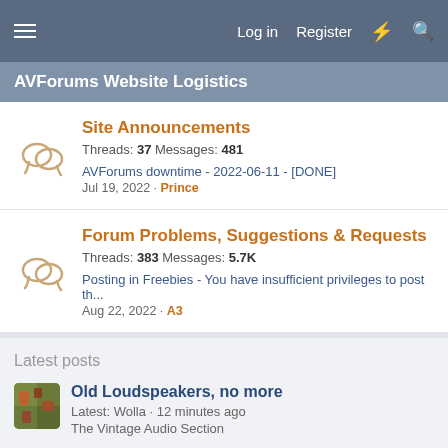Log in  Register
AVForums Website Logistics
Site Announcements
Threads: 37 Messages: 481
AVForums downtime - 2022-06-11 - [DONE]
Jul 19, 2022 · Prince
Forum Problems, Suggestions & Requests
Threads: 383 Messages: 5.7K
Posting in Freebies - You have insufficient privileges to post th...
Aug 22, 2022 · A3
Latest posts
Old Loudspeakers, no more
Latest: Wolla · 12 minutes ago
The Vintage Audio Section